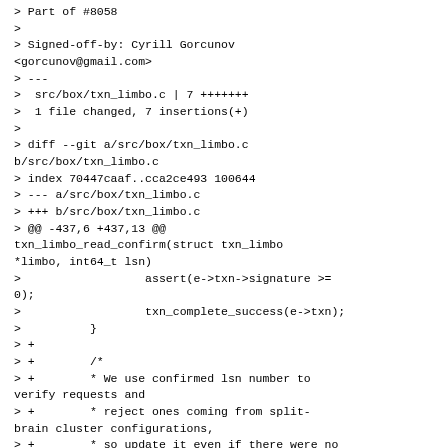> Part of #8058
>
> Signed-off-by: Cyrill Gorcunov <gorcunov@gmail.com>
> ---
>  src/box/txn_limbo.c | 7 +++++++
>  1 file changed, 7 insertions(+)
>
> diff --git a/src/box/txn_limbo.c b/src/box/txn_limbo.c
> index 70447caaf..cca2ce493 100644
> --- a/src/box/txn_limbo.c
> +++ b/src/box/txn_limbo.c
> @@ -437,6 +437,13 @@ txn_limbo_read_confirm(struct txn_limbo *limbo, int64_t lsn)
>                  assert(e->txn->signature >= 0);
>                  txn_complete_success(e->txn);
>          }
> +
> +        /*
> +        * We use confirmed lsn number to verify requests and
> +        * reject ones coming from split-brain cluster configurations,
> +        * so update it even if there were no entries to process.
> +        */
> +        limbo->confirmed_lsn = lsn;